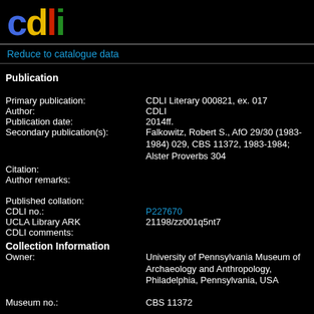[Figure (logo): CDLI logo with colorful letters c(blue) d(yellow) l(red) i(green) on black background]
Reduce to catalogue data
Publication
Primary publication:	CDLI Literary 000821, ex. 017
Author:	CDLI
Publication date:	2014ff.
Secondary publication(s):	Falkowitz, Robert S., AfO 29/30 (1983-1984) 029, CBS 11372, 1983-1984; Alster Proverbs 304
Citation:
Author remarks:
Published collation:
CDLI no.:	P227670
UCLA Library ARK	21198/zz001q5nt7
CDLI comments:
Source c
Catalogue
Translite
Translati
Photo:
Line Art:
Collection Information
Owner:	University of Pennsylvania Museum of Archaeology and Anthropology, Philadelphia, Pennsylvania, USA
Museum no.:	CBS 11372
Accession no.:
Acquisition history:
Physica
Object ty
Material:
Object re
Measure
Object p
Surface